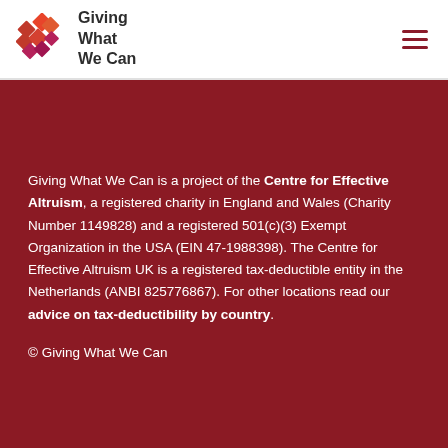Giving What We Can
Giving What We Can is a project of the Centre for Effective Altruism, a registered charity in England and Wales (Charity Number 1149828) and a registered 501(c)(3) Exempt Organization in the USA (EIN 47-1988398). The Centre for Effective Altruism UK is a registered tax-deductible entity in the Netherlands (ANBI 825776867). For other locations read our advice on tax-deductibility by country.
© Giving What We Can